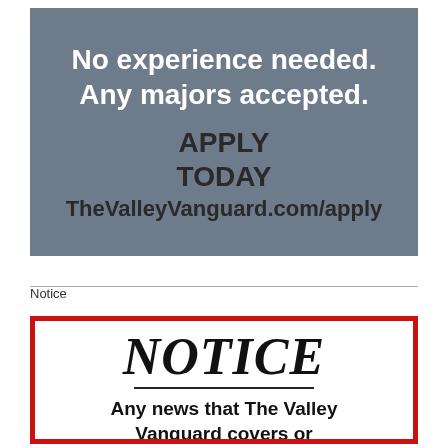[Figure (infographic): Gray advertisement banner reading 'No experience needed. Any majors accepted. APPLY TODAY TheValleyVanguard.com/apply']
Notice
[Figure (infographic): Notice box with red border containing bold italic 'NOTICE' heading and text 'Any news that The Valley Vanguard covers or']